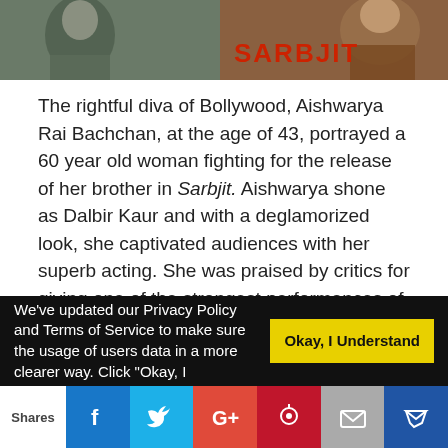[Figure (photo): Two film images: left shows a person in muted tones, right shows a still from Sarbjit film with the movie title in red text]
The rightful diva of Bollywood, Aishwarya Rai Bachchan, at the age of 43, portrayed a 60 year old woman fighting for the release of her brother in Sarbjit. Aishwarya shone as Dalbir Kaur and with a deglamorized look, she captivated audiences with her superb acting. She was praised by critics for giving one of the strongest performances of her career in Sarbjit.
4)Manoj Bajpayee in Aligarh (2016)
We've updated our Privacy Policy and Terms of Service to make sure the usage of users data in a more clearer way. Click "Okay, I
Okay, I Understand
Shares